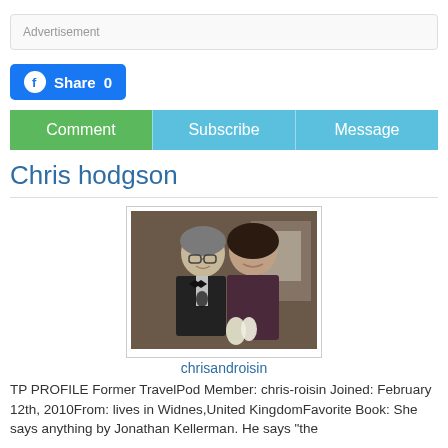Advertisement
[Figure (screenshot): Facebook Share button showing 'Share 0']
[Figure (infographic): Action bar with three buttons: Comment (green), Subscribe (light blue), Message (light blue)]
Chris hodgson
[Figure (photo): Photo of a couple sitting at a formal dinner table. Man in tuxedo on the left, woman in dark dress on the right.]
chrisandroisin
TP PROFILE Former TravelPod Member: chris-roisin Joined: February 12th, 2010From: lives in Widnes,United KingdomFavorite Book: She says anything by Jonathan Kellerman. He says "the